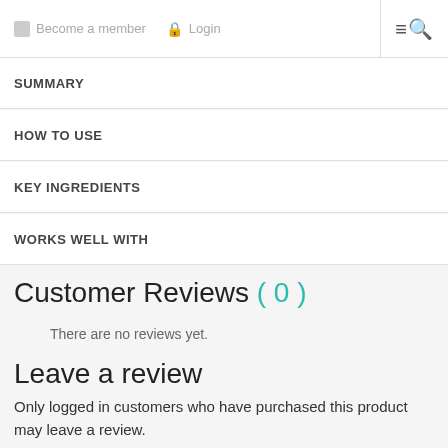Become a member   Login
SUMMARY
HOW TO USE
KEY INGREDIENTS
WORKS WELL WITH
Customer Reviews ( 0 )
There are no reviews yet.
Leave a review
Only logged in customers who have purchased this product may leave a review.